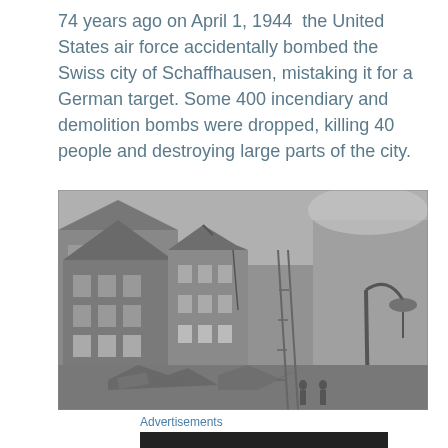74 years ago on April 1, 1944  the United States air force accidentally bombed the Swiss city of Schaffhausen, mistaking it for a German target. Some 400 incendiary and demolition bombs were dropped, killing 40 people and destroying large parts of the city.
[Figure (photo): Black and white historical photograph showing bomb damage to buildings in the Swiss city of Schaffhausen. Partially destroyed multi-story buildings are visible, with rubble and debris on the ground. A bent street lamp is visible on the right side.]
Advertisements